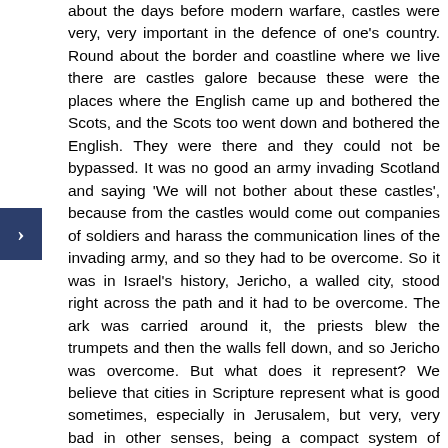about the days before modern warfare, castles were very, very important in the defence of one's country. Round about the border and coastline where we live there are castles galore because these were the places where the English came up and bothered the Scots, and the Scots too went down and bothered the English. They were there and they could not be bypassed. It was no good an army invading Scotland and saying 'We will not bother about these castles', because from the castles would come out companies of soldiers and harass the communication lines of the invading army, and so they had to be overcome. So it was in Israel's history, Jericho, a walled city, stood right across the path and it had to be overcome. The ark was carried around it, the priests blew the trumpets and then the walls fell down, and so Jericho was overcome. But what does it represent? We believe that cities in Scripture represent what is good sometimes, especially in Jerusalem, but very, very bad in other senses, being a compact system of administration against God. That is the world. That is exactly what the world is, a compact system without God, energised by Satan, the power of this world in